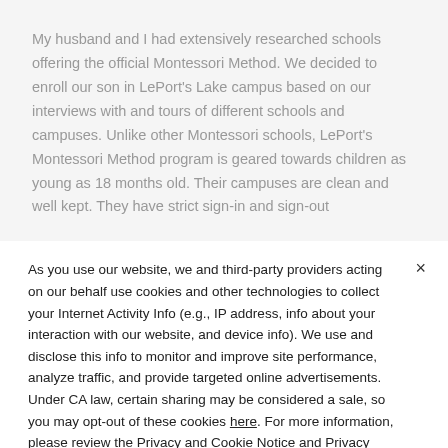My husband and I had extensively researched schools offering the official Montessori Method. We decided to enroll our son in LePort's Lake campus based on our interviews with and tours of different schools and campuses. Unlike other Montessori schools, LePort's Montessori Method program is geared towards children as young as 18 months old. Their campuses are clean and well kept. They have strict sign-in and sign-out
As you use our website, we and third-party providers acting on our behalf use cookies and other technologies to collect your Internet Activity Info (e.g., IP address, info about your interaction with our website, and device info). We use and disclose this info to monitor and improve site performance, analyze traffic, and provide targeted online advertisements. Under CA law, certain sharing may be considered a sale, so you may opt-out of these cookies here. For more information, please review the Privacy and Cookie Notice and Privacy Notice for California Residents.